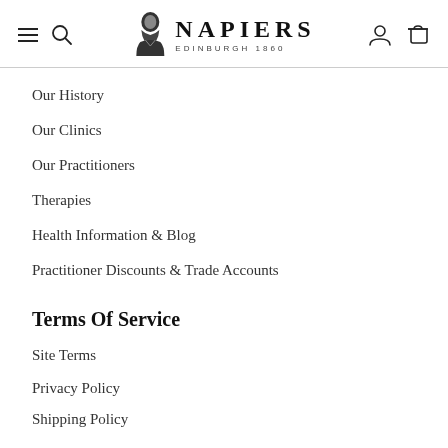NAPIERS EDINBURGH 1860 [navigation header with menu, search, account, cart icons]
Our History
Our Clinics
Our Practitioners
Therapies
Health Information & Blog
Practitioner Discounts & Trade Accounts
Terms Of Service
Site Terms
Privacy Policy
Shipping Policy